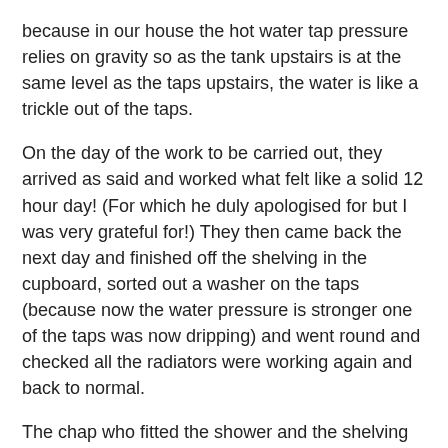because in our house the hot water tap pressure relies on gravity so as the tank upstairs is at the same level as the taps upstairs, the water is like a trickle out of the taps.
On the day of the work to be carried out, they arrived as said and worked what felt like a solid 12 hour day! (For which he duly apologised for but I was very grateful for!) They then came back the next day and finished off the shelving in the cupboard, sorted out a washer on the taps (because now the water pressure is stronger one of the taps was now dripping) and went round and checked all the radiators were working again and back to normal.
The chap who fitted the shower and the shelving in the cupboard (sorry I didn't get his name!) was great too, very polite and courteous. I have used TES before to service my boiler but this was a much more major job and outlay. I would have no hesitation in recommending them to anyone.